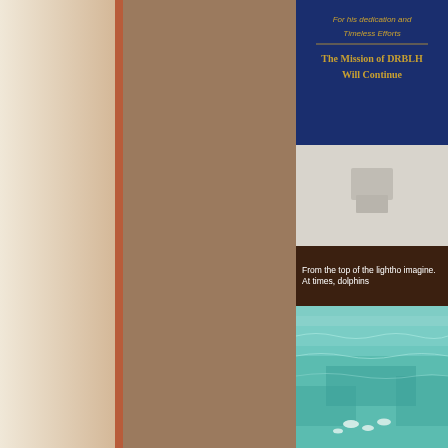[Figure (photo): Photo of a blue plaque on a white wall with gold text reading 'For his dedication and Timeless Efforts - The Mission of DRBLH Will Continue', partially cropped on the right side]
From the top of the lightho... imagine.  At times, dolphins...
[Figure (photo): Aerial photo of turquoise/green ocean water with white foam or dolphins visible near the bottom center]